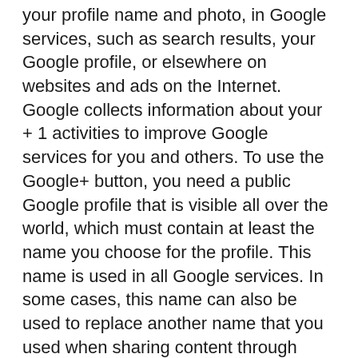your profile name and photo, in Google services, such as search results, your Google profile, or elsewhere on websites and ads on the Internet. Google collects information about your + 1 activities to improve Google services for you and others. To use the Google+ button, you need a public Google profile that is visible all over the world, which must contain at least the name you choose for the profile. This name is used in all Google services. In some cases, this name can also be used to replace another name that you used when sharing content through your Google Account. The identity of your Google profile can be displayed to users who know your e-mail address or have other identifying information from you. Use of the information collected: In addition to the uses outlined above, the information you provide will be used in accordance with the applicable Google Privacy Policy. Google may publish aggregated statistics on users' + 1 activities, or pass them on to users and partners, such as publishers, advertisers, or related sites.
Privacy Policy for use of Instagram
On our pages, functions of the Instagram service are integrated. These functions will Offered by Instagram Inc., 1601 Willow Road, Menlo Park, CA, 94025, USA. If you are logged in to your Instagram account, you can link the contents of our pages to your Instagram profile by clicking the Instagram button. This allows Instagram to associate